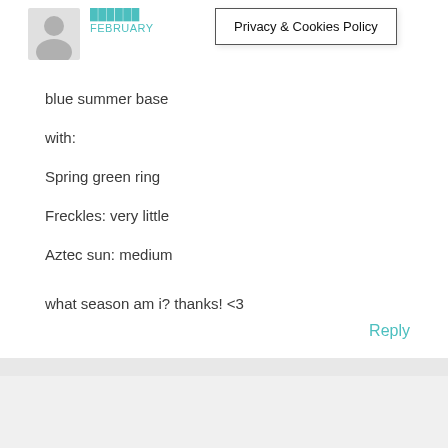[Figure (illustration): Gray silhouette avatar icon of a person]
FEBRUARY
Privacy & Cookies Policy
blue summer base
with:
Spring green ring
Freckles: very little
Aztec sun: medium
what season am i? thanks! <3
Reply